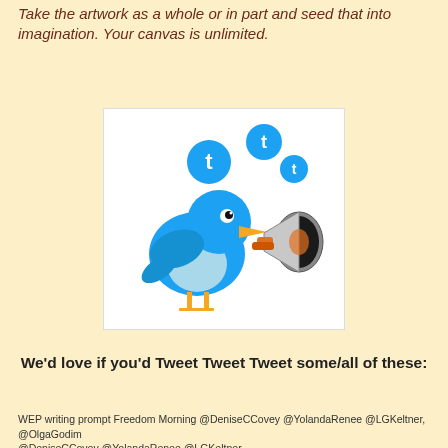Take the artwork as a whole or in part and seed that into imagination. Your canvas is unlimited.
[Figure (illustration): A blue Twitter bird holding an orange and white megaphone, with three blue Twitter logo circles floating above as if being broadcast.]
We'd love if you'd Tweet Tweet Tweet some/all of these:
WEP writing prompt Freedom Morning @DeniseCCovey @YolandaRenee @LGKeltner, @OlgaGodim @DeniseCCovey @YolandaRenee @LGKeltner